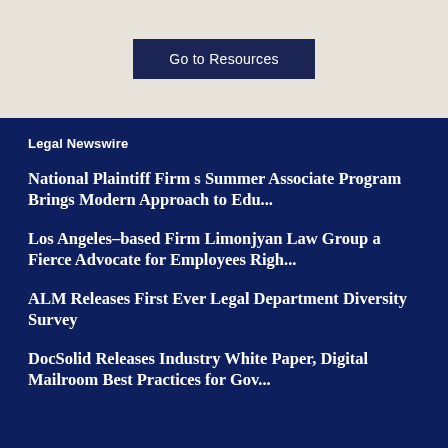Go to Resources
Legal Newswire
National Plaintiff Firm s Summer Associate Program Brings Modern Approach to Edu...
Los Angeles-based Firm Limonjyan Law Group a Fierce Advocate for Employees Righ...
ALM Releases First Ever Legal Department Diversity Survey
DocSolid Releases Industry White Paper, Digital Mailroom Best Practices for Gov...